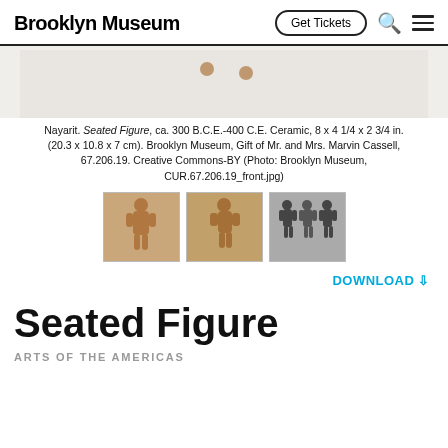Brooklyn Museum | Get Tickets
[Figure (photo): Top portion of ceramic seated figure artifact on light background]
Nayarit. Seated Figure, ca. 300 B.C.E.-400 C.E. Ceramic, 8 x 4 1/4 x 2 3/4 in. (20.3 x 10.8 x 7 cm). Brooklyn Museum, Gift of Mr. and Mrs. Marvin Cassell, 67.206.19. Creative Commons-BY (Photo: Brooklyn Museum, CUR.67.206.19_front.jpg)
[Figure (photo): Three thumbnail photos of ceramic figure: front view terracotta, side view terracotta, group of dark figures]
DOWNLOAD ⇩
Seated Figure
ARTS OF THE AMERICAS